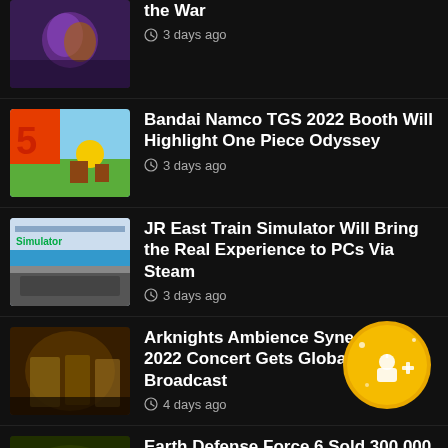the War · 3 days ago
Bandai Namco TGS 2022 Booth Will Highlight One Piece Odyssey · 3 days ago
JR East Train Simulator Will Bring the Real Experience to PCs Via Steam · 3 days ago
Arknights Ambience Synesthesia 2022 Concert Gets Global Broadcast · 4 days ago
Earth Defense Force 6 Sold 300,000 Units in Launch Week in Japan · 4 days ago
Voice of Cards: The Beasts of Burden Releases